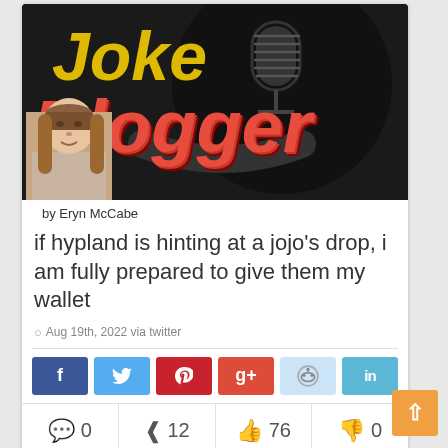[Figure (logo): Joke Blogger logo with yellow 'Joke' text, red 3D 'Blogger' text, and a microphone silhouette on black background]
by Eryn McCabe
if hypland is hinting at a jojo's drop, i am fully prepared to give them my wallet
Aug 19th, 2022 via twitter
[Figure (infographic): Social share buttons: Facebook (f), Twitter (bird), Pinterest, Google+, Reddit, LinkedIn]
0 comments, 12 shares, 76 likes, 0 dislikes